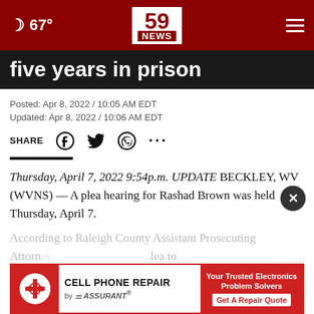[Figure (screenshot): 59 News website header with dark red background, moon/weather icon showing 67°, 59 NEWS logo in center, and hamburger menu on right]
five years in prison
Posted: Apr 8, 2022 / 10:05 AM EDT
Updated: Apr 8, 2022 / 10:06 AM EDT
SHARE (social icons: Facebook, Twitter, WhatsApp, more)
Thursday, April 7, 2022 9:54p.m. UPDATE BECKLEY, WV (WVNS) — A plea hearing for Rashad Brown was held Thursday, April 7.
According to Raleigh County Assistant Prosecuting Attorney ... lea to
[Figure (screenshot): Cell Phone Repair by Assurant advertisement banner with red border, CPR logo on left, CELL PHONE REPAIR by ASSURANT text in center, Your Trusted Electronics Problem Solvers and Get A Repair Quote button on right]